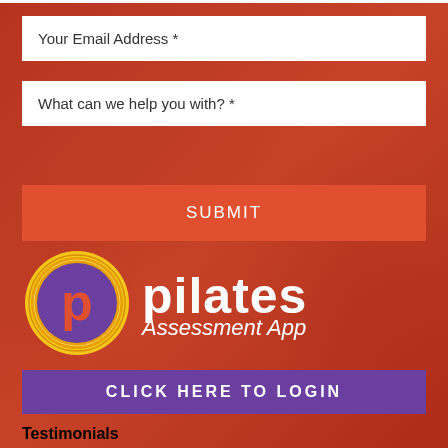Your Email Address *
What can we help you with? *
SUBMIT
[Figure (logo): Pilates Assessment App logo: gold circle with purple background containing an orange 'p' with a descender]
pilates Assessment App
CLICK HERE TO LOGIN
Testimonials